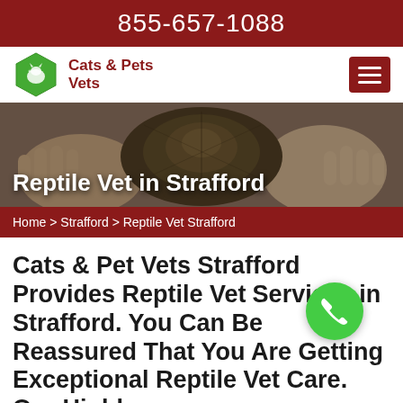855-657-1088
[Figure (logo): Cats & Pets Vets green hexagon logo with cat silhouette]
Cats & Pets Vets
[Figure (photo): Close-up photo of hands holding a tortoise from above]
Reptile Vet in Strafford
Home > Strafford > Reptile Vet Strafford
Cats & Pet Vets Strafford Provides Reptile Vet Services in Strafford. You Can Be Reassured That You Are Getting Exceptional Reptile Vet Care. Our Highly